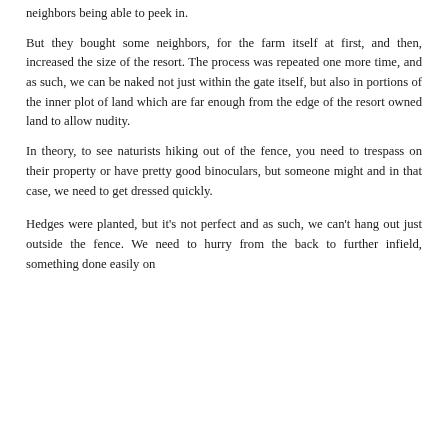neighbors being able to peek in.
But they bought some neighbors, for the farm itself at first, and then, increased the size of the resort. The process was repeated one more time, and as such, we can be naked not just within the gate itself, but also in portions of the inner plot of land which are far enough from the edge of the resort owned land to allow nudity.
In theory, to see naturists hiking out of the fence, you need to trespass on their property or have pretty good binoculars, but someone might and in that case, we need to get dressed quickly.
Hedges were planted, but it's not perfect and as such, we can't hang out just outside the fence. We need to hurry from the back to further infield, something done easily on